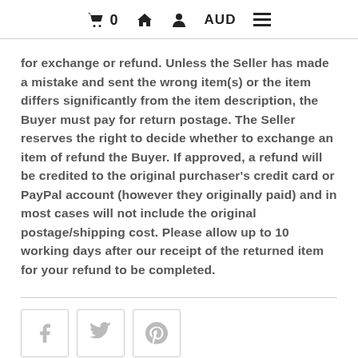🛒 0  🏠  👤  AUD  ☰
for exchange or refund. Unless the Seller has made a mistake and sent the wrong item(s) or the item differs significantly from the item description, the Buyer must pay for return postage. The Seller reserves the right to decide whether to exchange an item of refund the Buyer. If approved, a refund will be credited to the original purchaser's credit card or PayPal account (however they originally paid) and in most cases will not include the original postage/shipping cost. Please allow up to 10 working days after our receipt of the returned item for your refund to be completed.
[Figure (other): Social share buttons: Facebook, Twitter, Pinterest icons in bordered square boxes]